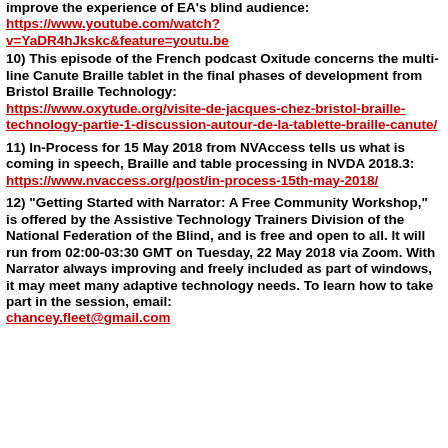improve the experience of EA's blind audience: https://www.youtube.com/watch?v=YaDR4hJkskc&feature=youtu.be
10) This episode of the French podcast Oxitude concerns the multi-line Canute Braille tablet in the final phases of development from Bristol Braille Technology: https://www.oxytude.org/visite-de-jacques-chez-bristol-braille-technology-partie-1-discussion-autour-de-la-tablette-braille-canute/
11) In-Process for 15 May 2018 from NVAccess tells us what is coming in speech, Braille and table processing in NVDA 2018.3: https://www.nvaccess.org/post/in-process-15th-may-2018/
12) "Getting Started with Narrator: A Free Community Workshop," is offered by the Assistive Technology Trainers Division of the National Federation of the Blind, and is free and open to all. It will run from 02:00-03:30 GMT on Tuesday, 22 May 2018 via Zoom. With Narrator always improving and freely included as part of windows, it may meet many adaptive technology needs. To learn how to take part in the session, email: chancey.fleet@gmail.com